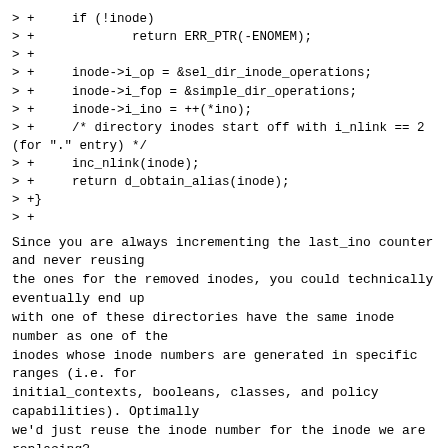> +     if (!inode)
> +             return ERR_PTR(-ENOMEM);
> +
> +     inode->i_op = &sel_dir_inode_operations;
> +     inode->i_fop = &simple_dir_operations;
> +     inode->i_ino = ++(*ino);
> +     /* directory inodes start off with i_nlink == 2
(for "." entry) */
> +     inc_nlink(inode);
> +     return d_obtain_alias(inode);
> +}
> +
Since you are always incrementing the last_ino counter
and never reusing
the ones for the removed inodes, you could technically
eventually end up
with one of these directories have the same inode
number as one of the
inodes whose inode numbers are generated in specific
ranges (i.e. for
initial_contexts, booleans, classes, and policy
capabilities). Optimally
we'd just reuse the inode number for the inode we are
replacing?
next prev parent reply   other threads:[~2020-08-13